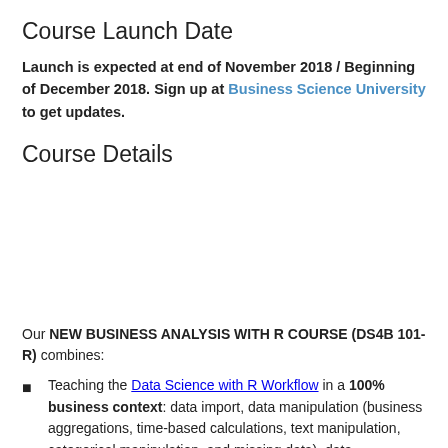Course Launch Date
Launch is expected at end of November 2018 / Beginning of December 2018. Sign up at Business Science University to get updates.
Course Details
Our NEW BUSINESS ANALYSIS WITH R COURSE (DS4B 101-R) combines:
Teaching the Data Science with R Workflow in a 100% business context: data import, data manipulation (business aggregations, time-based calculations, text manipulation, categorical manipulation, and missing data), data visualization, business reporting with RMarkdown , and advanced analysis including